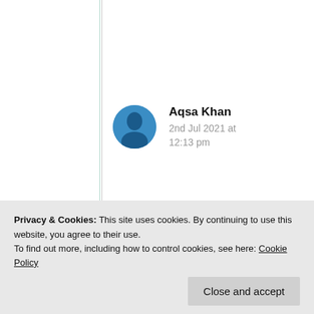Aqsa Khan
2nd Jul 2021 at 12:13 pm
Can we tag here people on our posts… Lately I had been using an app for writing where I could tag others. But here I didn't... platform completely…
Privacy & Cookies: This site uses cookies. By continuing to use this website, you agree to their use.
To find out more, including how to control cookies, see here: Cookie Policy
Close and accept